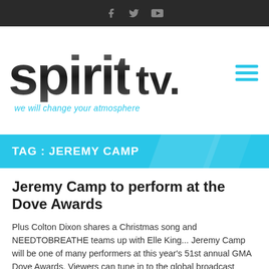Spirit TV — social icons header bar
[Figure (logo): Spirit TV logo with tagline 'we will change your atmosphere' in cyan italic text, and a hamburger menu icon in cyan]
TAG : JEREMY CAMP
Jeremy Camp to perform at the Dove Awards
Plus Colton Dixon shares a Christmas song and NEEDTOBREATHE teams up with Elle King... Jeremy Camp will be one of many performers at this year's 51st annual GMA Dove Awards. Viewers can tune in to the global broadcast Friday, October 30th at 8 pm EST. Colton Dixon has released